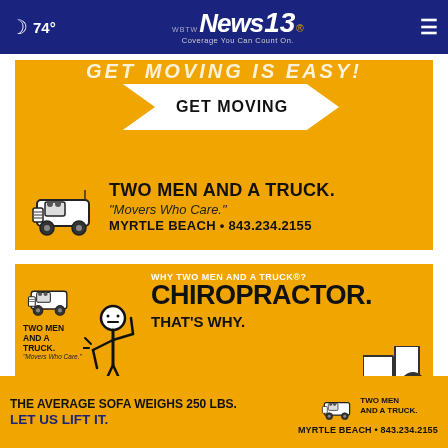74° | WBTW News 13 | Coverage You Can Count On.
[Figure (infographic): Two Men and a Truck advertisement on orange background with GET MOVING arrow button, truck cartoon logo, brand name, tagline Movers Who Care, and Myrtle Beach 843.234.2155]
[Figure (infographic): Two Men and a Truck advertisement: Why Two Men and A Truck? CHIROPRACTOR. THAT'S WHY. Stick figure, boxes, and brand logo on orange background]
[Figure (infographic): Two Men and a Truck bottom banner: THE AVERAGE SOFA WEIGHS 250 LBS. LET US LIFT IT. MYRTLE BEACH 843.234.2155]